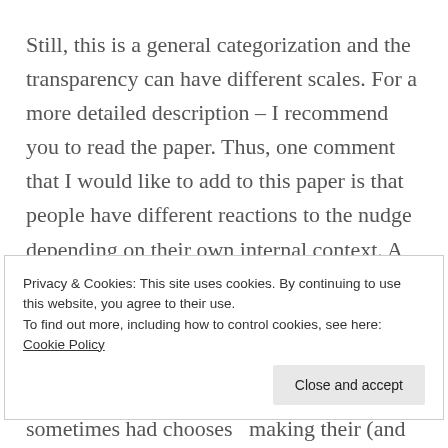Still, this is a general categorization and the transparency can have different scales. For a more detailed description – I recommend you to read the paper. Thus, one comment that I would like to add to this paper is that people have different reactions to the nudge depending on their own internal context. A nudge can be subjective – transparent for one person while non-transparent for another hence may be hard to charegorize. But in
Privacy & Cookies: This site uses cookies. By continuing to use this website, you agree to their use.
To find out more, including how to control cookies, see here: Cookie Policy
Close and accept
sometimes had chooses making their (and